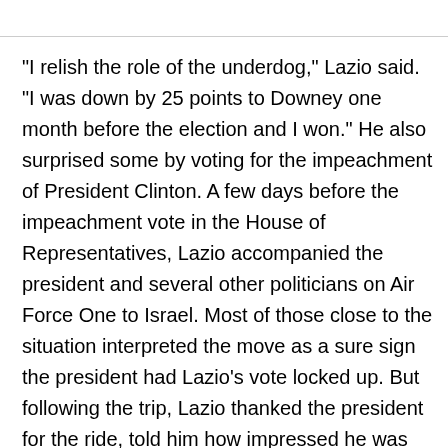"I relish the role of the underdog," Lazio said. "I was down by 25 points to Downey one month before the election and I won." He also surprised some by voting for the impeachment of President Clinton. A few days before the impeachment vote in the House of Representatives, Lazio accompanied the president and several other politicians on Air Force One to Israel. Most of those close to the situation interpreted the move as a sure sign the president had Lazio's vote locked up. But following the trip, Lazio thanked the president for the ride, told him how impressed he was with Air Force One and then all but called Clinton a liar in a soothing op-ed article in Newsday.